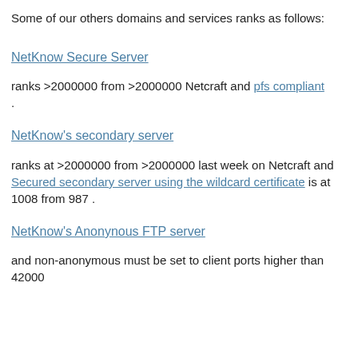Some of our others domains and services ranks as follows:
NetKnow Secure Server
ranks >2000000 from >2000000 Netcraft and pfs compliant .
NetKnow's secondary server
ranks at >2000000 from >2000000 last week on Netcraft and Secured secondary server using the wildcard certificate is at 1008 from 987 .
NetKnow's Anonynous FTP server
and non-anonymous must be set to client ports higher than 42000